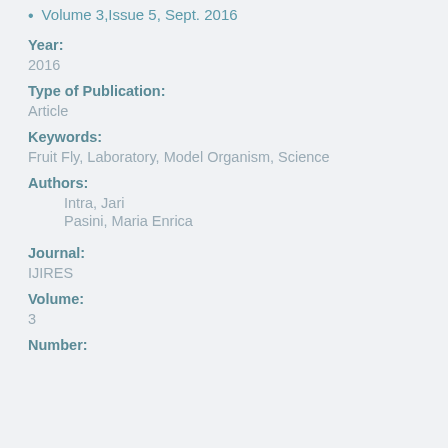Volume 3,Issue 5, Sept. 2016
Year:
2016
Type of Publication:
Article
Keywords:
Fruit Fly, Laboratory, Model Organism, Science
Authors:
Intra, Jari
Pasini, Maria Enrica
Journal:
IJIRES
Volume:
3
Number: